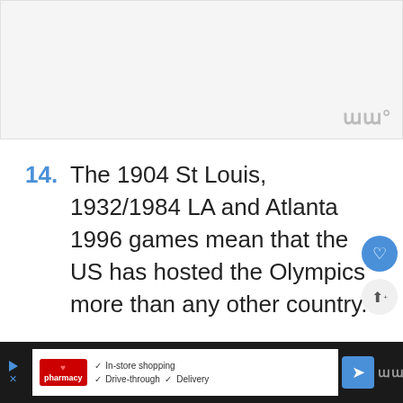[Figure (other): Gray placeholder image area with a watermark logo in the bottom-right corner]
14. The 1904 St Louis, 1932/1984 LA and Atlanta 1996 games mean that the US has hosted the Olympics more than any other country.
15. London holds the record of being the only city to have hosted the event 3 times – 1908, 1948 and 2012.
[Figure (other): Bottom advertisement bar showing CVS Pharmacy ad with In-store shopping, Drive-through, and Delivery options, plus navigation arrow and watermark]